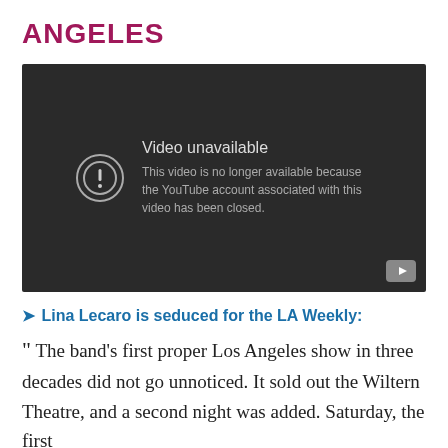ANGELES
[Figure (screenshot): Video unavailable placeholder from YouTube. Shows a dark background with a circle-exclamation icon and text: 'Video unavailable. This video is no longer available because the YouTube account associated with this video has been closed.' A YouTube play button icon appears in the bottom-right corner.]
➤ Lina Lecaro is seduced for the LA Weekly:
“ The band’s first proper Los Angeles show in three decades did not go unnoticed. It sold out the Wiltern Theatre, and a second night was added. Saturday, the first